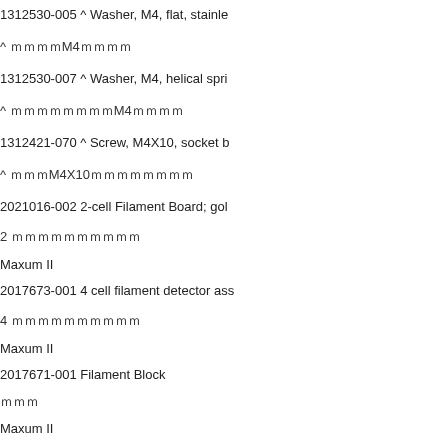1312530-005 ^ Washer, M4, flat, stainle
^ ｍｍｍｍM4ｍｍｍｍ
1312530-007 ^ Washer, M4, helical spri
^ ｍｍｍｍｍｍｍｍM4ｍｍｍｍ
1312421-070 ^ Screw, M4X10, socket b
^ ｍｍｍM4X10ｍｍｍｍｍｍｍｍ
2021016-002 2-cell Filament Board; gol
2 ｍｍｍｍｍｍｍｍｍｍ
Maxum II
2017673-001 4 cell filament detector ass
4 ｍｍｍｍｍｍｍｍｍｍ
Maxum II
2017671-001 Filament Block
ｍｍｍ
Maxum II
2020176-001 TCD-2 Thermistor Bead K
TCD-2 ｍｍｍｍｍMaxum II ｍApplet ｍｍｍ
Maxum II